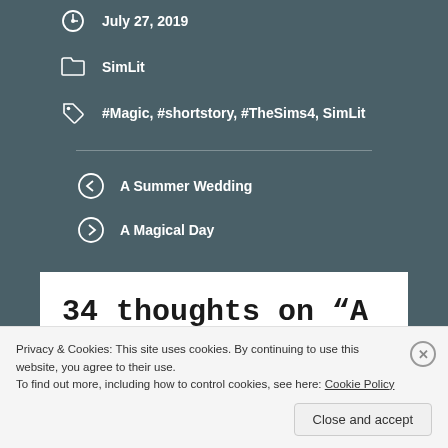July 27, 2019
SimLit
#Magic, #shortstory, #TheSims4, SimLit
A Summer Wedding
A Magical Day
34 thoughts on “A Magical Day”
Privacy & Cookies: This site uses cookies. By continuing to use this website, you agree to their use.
To find out more, including how to control cookies, see here: Cookie Policy
Close and accept